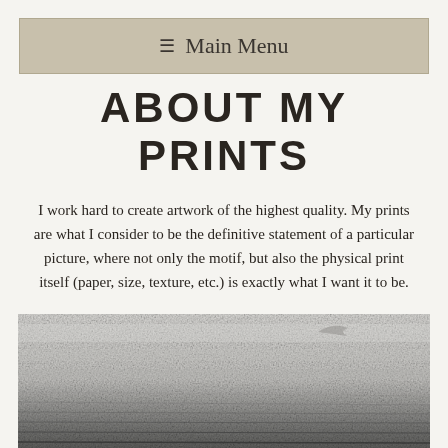≡ Main Menu
ABOUT MY PRINTS
I work hard to create artwork of the highest quality. My prints are what I consider to be the definitive statement of a particular picture, where not only the motif, but also the physical print itself (paper, size, texture, etc.) is exactly what I want it to be.
[Figure (photo): Close-up photograph of a fine art print on paper showing a misty landscape with subtle tones, the paper edge visible at bottom, and a bird or similar motif partially visible at top.]